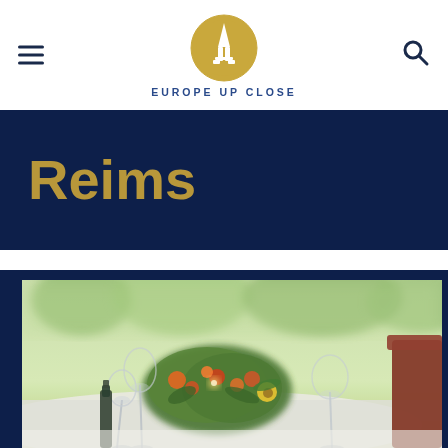EUROPE UP CLOSE
Reims
[Figure (photo): An elegantly set dining table with wine glasses and floral centerpiece featuring oranges and greens, blurred outdoor background, part of a wooden chair visible on the right.]